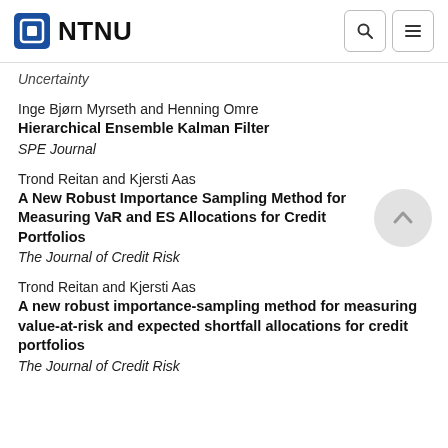NTNU
Uncertainty
Inge Bjørn Myrseth and Henning Omre
Hierarchical Ensemble Kalman Filter
SPE Journal
Trond Reitan and Kjersti Aas
A New Robust Importance Sampling Method for Measuring VaR and ES Allocations for Credit Portfolios
The Journal of Credit Risk
Trond Reitan and Kjersti Aas
A new robust importance-sampling method for measuring value-at-risk and expected shortfall allocations for credit portfolios
The Journal of Credit Risk